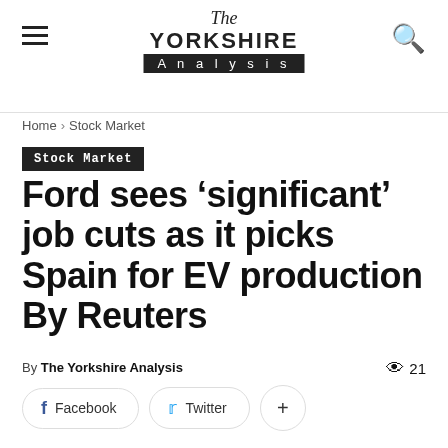The Yorkshire Analysis
Home › Stock Market
Stock Market
Ford sees 'significant' job cuts as it picks Spain for EV production By Reuters
By The Yorkshire Analysis  👁 21
Facebook  Twitter  +